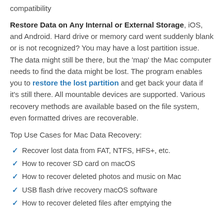compatibility
Restore Data on Any Internal or External Storage, iOS, and Android. Hard drive or memory card went suddenly blank or is not recognized? You may have a lost partition issue. The data might still be there, but the 'map' the Mac computer needs to find the data might be lost. The program enables you to restore the lost partition and get back your data if it's still there. All mountable devices are supported. Various recovery methods are available based on the file system, even formatted drives are recoverable.
Top Use Cases for Mac Data Recovery:
Recover lost data from FAT, NTFS, HFS+, etc.
How to recover SD card on macOS
How to recover deleted photos and music on Mac
USB flash drive recovery macOS software
How to recover deleted files after emptying the